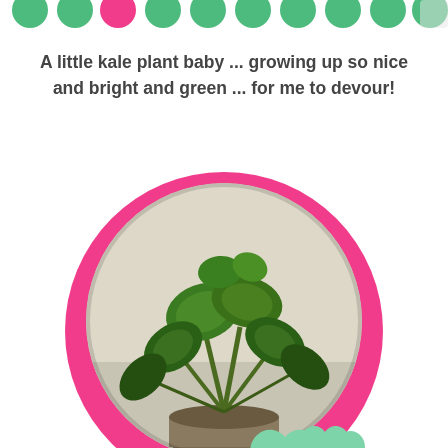[Figure (illustration): Row of decorative green and pink circles/bubbles across the top of the page as a decorative border]
A little kale plant baby ... growing up so nice and bright and green ... for me to devour!
[Figure (photo): Circular photo of a small kale plant with dark green leaves growing in a pot, framed by a large hot-pink circle border, with a mint green heart-shaped label overlay reading 'Close up 6 days in the Tower Garden']